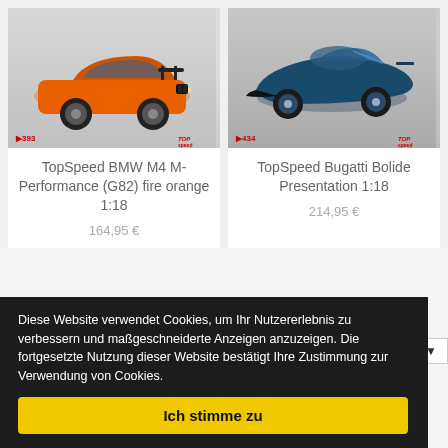[Figure (photo): TopSpeed BMW M4 M-Performance (G82) in fire orange color, scale model car product photo, item #393]
TopSpeed BMW M4 M-Performance (G82) fire orange 1:18
164,95 €
[Figure (photo): TopSpeed Bugatti Bolide Presentation in blue/dark color, scale model car product photo, item #434]
TopSpeed Bugatti Bolide Presentation 1:18
214,95 €
ed / 1▼
Diese Website verwendet Cookies, um Ihr Nutzererlebnis zu verbessern und maßgeschneiderte Anzeigen anzuzeigen. Die fortgesetzte Nutzung dieser Website bestätigt Ihre Zustimmung zur Verwendung von Cookies.
Ich stimme zu